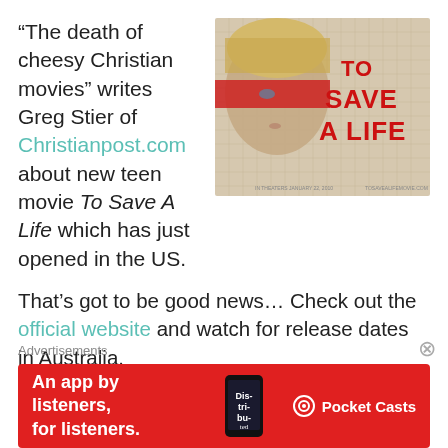“The death of cheesy Christian movies” writes Greg Stier of Christianpost.com about new teen movie To Save A Life which has just opened in the US.
[Figure (photo): Movie poster for 'To Save A Life' showing a young person's face with red paint/mask overlay, large red text reading 'TO SAVE A LIFE' on right side, grid-paper background]
That’s got to be good news… Check out the official website and watch for release dates in Australia.
Contemporary Christian communicators, by and large, often try so hard to get their message
Advertisements
[Figure (other): Red advertisement banner: 'An app by listeners, for listeners.' with Pocket Casts logo and phone showing 'Distributed' app]